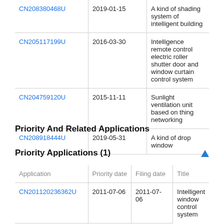| Application | Date | Title |
| --- | --- | --- |
| CN208380468U | 2019-01-15 | A kind of shading system of intelligent building |
| CN205117199U | 2016-03-30 | Intelligence remote control electric roller shutter door and window curtain control system |
| CN204759120U | 2015-11-11 | Sunlight ventilation unit based on thing networking |
| CN208918444U | 2019-05-31 | A kind of drop window |
Priority And Related Applications
Priority Applications (1)
| Application | Priority date | Filing date | Title |
| --- | --- | --- | --- |
| CN201120236362U | 2011-07-06 | 2011-07-06 | Intelligent window control system |